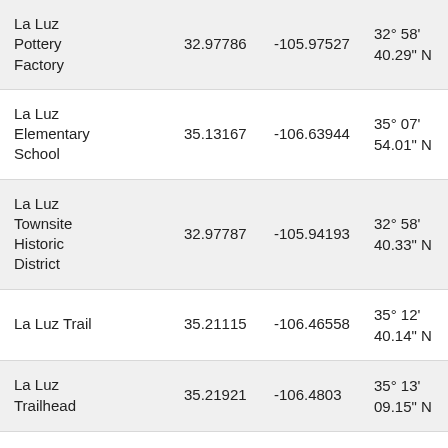| Name | Latitude | Longitude | DMS Latitude | (partial) |
| --- | --- | --- | --- | --- |
| La Luz Pottery Factory | 32.97786 | -105.97527 | 32° 58' 40.29" N | 1...3... |
| La Luz Elementary School | 35.13167 | -106.63944 | 35° 07' 54.01" N | 1...2... |
| La Luz Townsite Historic District | 32.97787 | -105.94193 | 32° 58' 40.33" N | 1...3... |
| La Luz Trail | 35.21115 | -106.46558 | 35° 12' 40.14" N | 1...5... |
| La Luz Trailhead | 35.21921 | -106.4803 | 35° 13' 09.15" N | 1...4... |